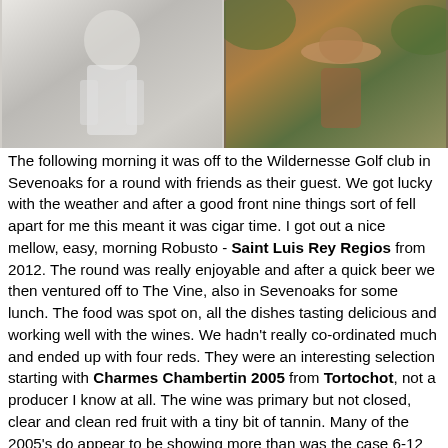[Figure (photo): Two photos side by side: left photo shows a person in white clothing (possibly a golfer), right photo shows a person wearing a hat outdoors.]
The following morning it was off to the Wildernesse Golf club in Sevenoaks for a round with friends as their guest. We got lucky with the weather and after a good front nine things sort of fell apart for me this meant it was cigar time. I got out a nice mellow, easy, morning Robusto - Saint Luis Rey Regios from 2012. The round was really enjoyable and after a quick beer we then ventured off to The Vine, also in Sevenoaks for some lunch. The food was spot on, all the dishes tasting delicious and working well with the wines. We hadn't really co-ordinated much and ended up with four reds. They were an interesting selection starting with Charmes Chambertin 2005 from Tortochot, not a producer I know at all. The wine was primary but not closed, clear and clean red fruit with a tiny bit of tannin. Many of the 2005's do appear to be showing more than was the case 6-12 months ago. This is a wine that will age well but I don't see it being an epic. Lovely, relatively simple and a nice drink. Next up was the oldest bottle of the day and both the most unique as well as